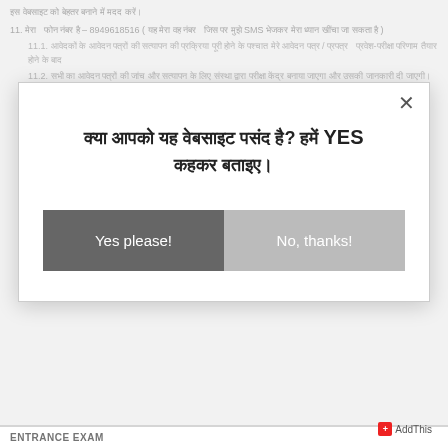इस वेबसाइट को बेहतर बनाने में मदद करें।
11. मेरा फोन नंबर है – 8949618516 ( यह मेरा वह नंबर है जिस पर मुझे SMS भेजकर मेरा ध्यान खींचा जा सकता है )
11.1. आवेदकों के आवेदन पत्रों की सत्यापन की प्रक्रिया पूरी होने के पश्चात / उपरांत  प्रवेश-परीक्षा परिणाम तैयार होने के बाद
11.2. सभी का आवेदन पत्रों की जांच और सत्यापन के लिए संस्था द्वारा परीक्षा केंद्र बनाया जाएगा और उसकी जानकारी दी जाएगी।
11.3. 2019-20 में प्रवेश परीक्षा के परिणाम की तैयारी के विषय में
क्या आपको यह वेबसाइट पसंद है? हमें YES कहकर बताइए।
Yes please!
No, thanks!
ENTRANCE EXAM